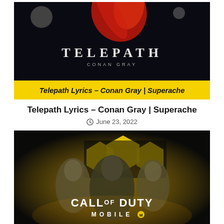[Figure (photo): Thumbnail image for Telepath Lyrics article — dark space background with red abstract shape, text TELEPATH CONAN GRAY, yellow banner at bottom reading 'Telepath Lyrics - Conan Gray | Superache']
Telepath Lyrics – Conan Gray | Superache
June 23, 2022
[Figure (photo): Call of Duty Mobile promotional image — three military soldiers against dark background with yellow hexagon shapes and 'CALL OF DUTY MOBILE' text]